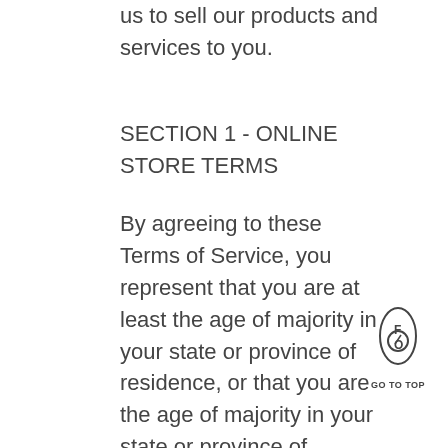us to sell our products and services to you.
SECTION 1 - ONLINE STORE TERMS
By agreeing to these Terms of Service, you represent that you are at least the age of majority in your state or province of residence, or that you are the age of majority in your state or province of residence and you have given us your consent to allow
[Figure (logo): Fish/eye shaped logo with letters F and O inside, with GO TO TOP text below]